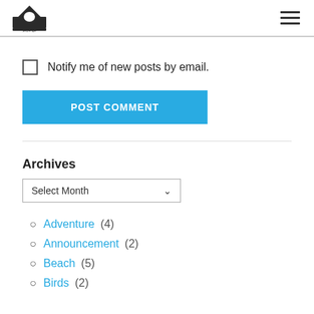payanga logo and hamburger menu
Notify me of new posts by email.
POST COMMENT
Archives
Select Month
Adventure (4)
Announcement (2)
Beach (5)
Birds (2)